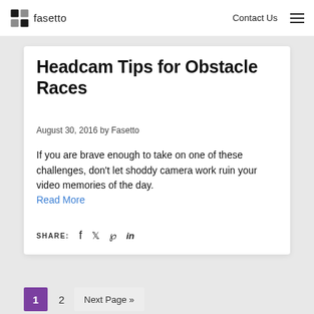fasetto   Contact Us
Headcam Tips for Obstacle Races
August 30, 2016 by Fasetto
If you are brave enough to take on one of these challenges, don't let shoddy camera work ruin your video memories of the day.
Read More
SHARE:  f  𝕥  p  in
1  2  Next Page »